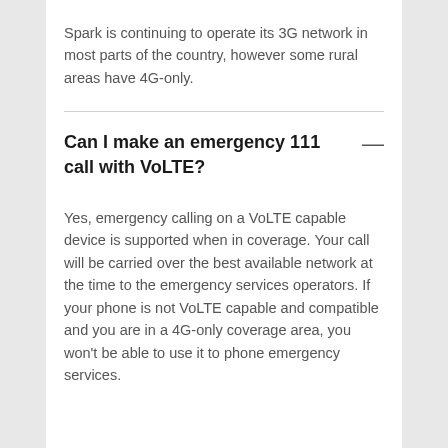Spark is continuing to operate its 3G network in most parts of the country, however some rural areas have 4G-only.
Can I make an emergency 111 call with VoLTE?
Yes, emergency calling on a VoLTE capable device is supported when in coverage. Your call will be carried over the best available network at the time to the emergency services operators. If your phone is not VoLTE capable and compatible and you are in a 4G-only coverage area, you won't be able to use it to phone emergency services.